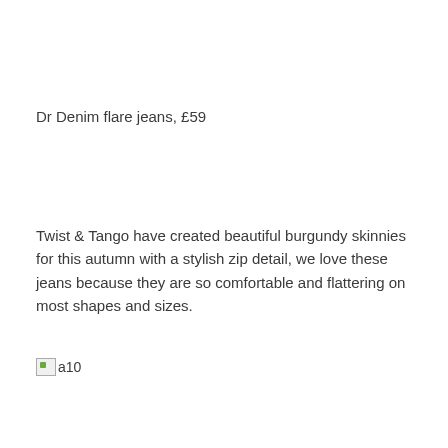Dr Denim flare jeans, £59
Twist & Tango have created beautiful burgundy skinnies for this autumn with a stylish zip detail, we love these jeans because they are so comfortable and flattering on most shapes and sizes.
[Figure (photo): Broken image placeholder labeled 'a10']